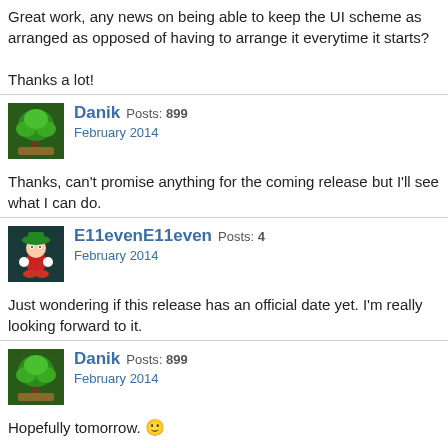Great work, any news on being able to keep the UI scheme as arranged as opposed of having to arrange it everytime it starts?

Thanks a lot!
[Figure (photo): Avatar image of user Danik showing a green tree on a floating platform]
Danik Posts: 899
February 2014
Thanks, can't promise anything for the coming release but I'll see what I can do.
[Figure (photo): Avatar image of user E11evenE11even showing a character with a mushroom hat]
E11evenE11even Posts: 4
February 2014
Just wondering if this release has an official date yet. I'm really looking forward to it.
[Figure (photo): Avatar image of user Danik showing a green tree on a floating platform]
Danik Posts: 899
February 2014
Hopefully tomorrow. 🙂